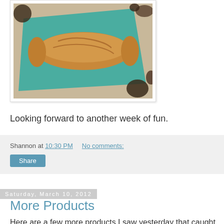[Figure (photo): Photo of a baguette/bread loaf on a teal/green cutting board on a countertop]
Looking forward to another week of fun.
Shannon at 10:30 PM    No comments:
Share
Saturday, March 10, 2012
More Products
Here are a few more products I saw yesterday that caught